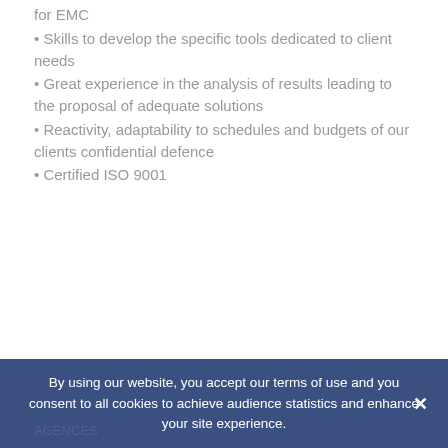for EMC
• Skills to develop the specific tools dedicated to client needs
• Great experience in the analysis of results leading to the proposal of adequate solutions
• Reactivity, adaptability to schedules and budgets of our clients confidential defence
• Certified ISO 9001
By using our website, you accept our terms of use and you consent to all cookies to achieve audience statistics and enhance your site experience.